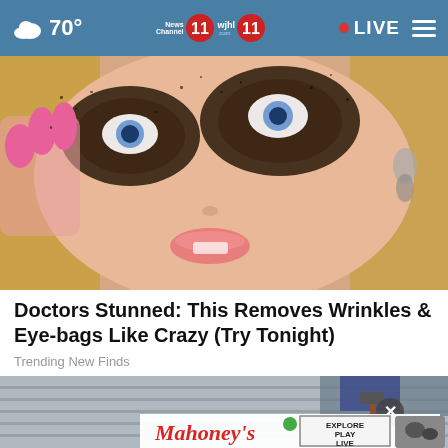70° | News Channel 11 | wjhl 11 | LIVE
[Figure (photo): Close-up photo of a blonde woman with dramatic dark eye makeup/beauty product applied around her eyes, wearing drop earrings and touching her face with pink-nailed hand]
Doctors Stunned: This Removes Wrinkles & Eye-bags Like Crazy (Try Tonight)
Trending New Finds
[Figure (photo): Partial photo of a person using a power tool on a deck/outdoor surface, with a Mahoney's advertisement overlay featuring the text EXPLORE PLAY LIVE and a close-up of an ATV rider]